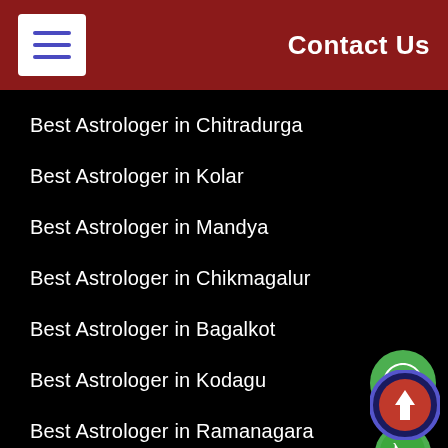Contact Us
Best Astrologer in Chitradurga
Best Astrologer in Kolar
Best Astrologer in Mandya
Best Astrologer in Chikmagalur
Best Astrologer in Bagalkot
Best Astrologer in Kodagu
Best Astrologer in Ramanagara
Best Astrologer in Haveri
Best Astrologer in Karwar
Best Astrologer in Bellary
[Figure (illustration): WhatsApp green circle icon]
[Figure (illustration): WhatsApp phone call green bubble icon]
[Figure (illustration): Scroll to top button with upward arrow, dark blue ring and red center]